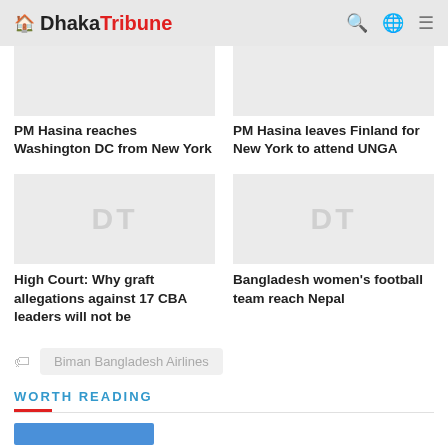Dhaka Tribune
[Figure (photo): Placeholder image for article: PM Hasina reaches Washington DC from New York]
PM Hasina reaches Washington DC from New York
[Figure (photo): Placeholder image for article: PM Hasina leaves Finland for New York to attend UNGA]
PM Hasina leaves Finland for New York to attend UNGA
[Figure (photo): Placeholder DT image for article: High Court: Why graft allegations against 17 CBA leaders will not be]
High Court: Why graft allegations against 17 CBA leaders will not be
[Figure (photo): Placeholder DT image for article: Bangladesh women's football team reach Nepal]
Bangladesh women's football team reach Nepal
Biman Bangladesh Airlines
WORTH READING